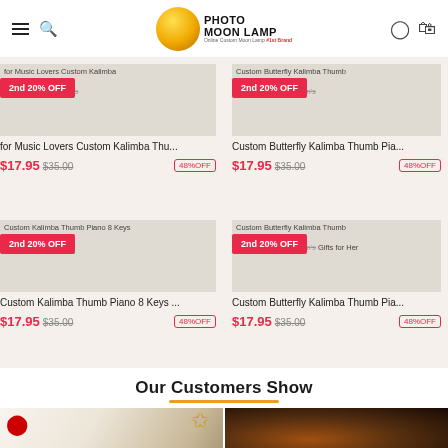[Figure (screenshot): Photo Moon Lamp website header with hamburger menu, search icon, moon lamp logo, user and cart icons]
[Figure (screenshot): Product card: for Music Lovers Custom Kalimba Thumb Keys Mini Guitar Kalimba, For Beginners. Price $17.95 (was $35.00), 48% OFF. 2nd 20% OFF badge.]
[Figure (screenshot): Product card: Custom Butterfly Kalimba Thumb Piano Mini Kalimba, For Beginners And Children's. Price $17.95 (was $35.00), 48% OFF. 2nd 20% OFF badge.]
[Figure (screenshot): Product card: Custom Kalimba Thumb Piano 8 Keys Gifts for Beginners. Price $17.95 (was $35.00), 48% OFF. 2nd 20% OFF badge.]
[Figure (screenshot): Product card: Custom Butterfly Kalimba Thumb Piano Mini Kalimba For Beginners And Children's Gifts for Her. Price $17.95 (was $35.00), 48% OFF. 2nd 20% OFF badge.]
Our Customers Show
[Figure (photo): Customer photo showing Christmas decorations with red ornament, gold tinsel, and a hand holding a gift with moon lamp photo print]
[Figure (photo): Customer photo showing a glowing moon lamp in a dark background]